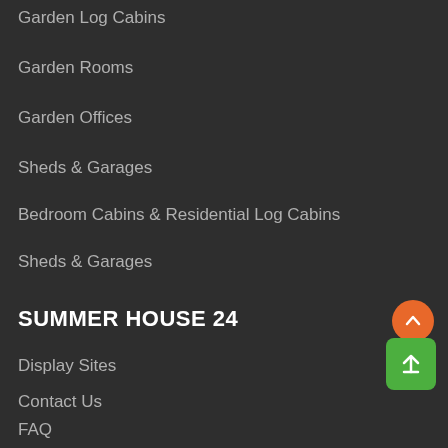Garden Log Cabins
Garden Rooms
Garden Offices
Sheds & Garages
Bedroom Cabins & Residential Log Cabins
Sheds & Garages
SUMMER HOUSE 24
Display Sites
Contact Us
FAQ
Terms and conditions of sale